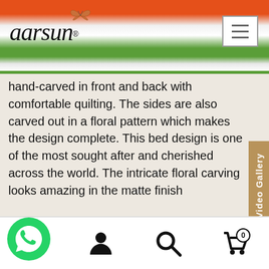aarsun
hand-carved in front and back with comfortable quilting. The sides are also carved out in a floral pattern which makes the design complete. This bed design is one of the most sought after and cherished across the world. The intricate floral carving looks amazing in the matte finish

Matte finish enables the wood texture and design clear and soothing to the eyes. Clearly a masterpiece, the raja bed can be customized in Queen, King as well as Super Kingsize as required. Video Here
home | account | search | cart (0)